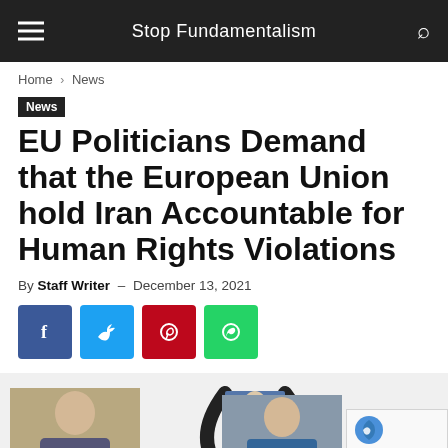Stop Fundamentalism
Home › News
News
EU Politicians Demand that the European Union hold Iran Accountable for Human Rights Violations
By Staff Writer – December 13, 2021
[Figure (screenshot): Social share buttons: Facebook, Twitter, Pinterest, WhatsApp]
[Figure (photo): Bottom strip showing partial photos of people and a reCAPTCHA badge]